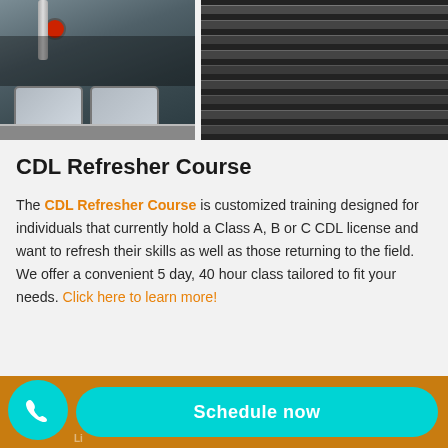[Figure (photo): Two photos of a large commercial truck: left photo shows the front hood, mirror, and headlights of a semi-truck; right photo shows a close-up of horizontal chrome grill bars of a truck.]
CDL Refresher Course
The CDL Refresher Course is customized training designed for individuals that currently hold a Class A, B or C CDL license and want to refresh their skills as well as those returning to the field. We offer a convenient 5 day, 40 hour class tailored to fit your needs. Click here to learn more!